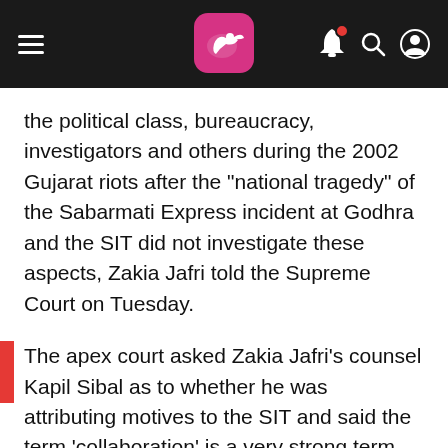News app header with hamburger menu, logo, notification bell, search, and profile icons
the political class, bureaucracy, investigators and others during the 2002 Gujarat riots after the "national tragedy" of the Sabarmati Express incident at Godhra and the SIT did not investigate these aspects, Zakia Jafri told the Supreme Court on Tuesday.
The apex court asked Zakia Jafri's counsel Kapil Sibal as to whether he was attributing motives to the SIT and said the term 'collaboration' is a very strong term for a Special Investigation Team (SIT) constituted by the top court.